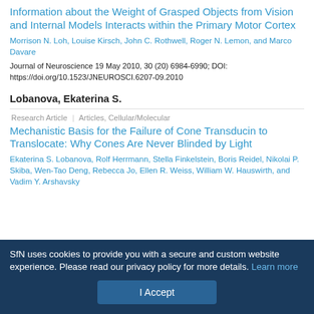Information about the Weight of Grasped Objects from Vision and Internal Models Interacts within the Primary Motor Cortex
Morrison N. Loh, Louise Kirsch, John C. Rothwell, Roger N. Lemon, and Marco Davare
Journal of Neuroscience 19 May 2010, 30 (20) 6984-6990; DOI: https://doi.org/10.1523/JNEUROSCI.6207-09.2010
Lobanova, Ekaterina S.
Research Article | Articles, Cellular/Molecular
Mechanistic Basis for the Failure of Cone Transducin to Translocate: Why Cones Are Never Blinded by Light
Ekaterina S. Lobanova, Rolf Herrmann, Stella Finkelstein, Boris Reidel, Nikolai P. Skiba, Wen-Tao Deng, Rebecca Jo, Ellen R. Weiss, William W. Hauswirth, and Vadim Y. Arshavsky
SfN uses cookies to provide you with a secure and custom website experience. Please read our privacy policy for more details. Learn more
I Accept